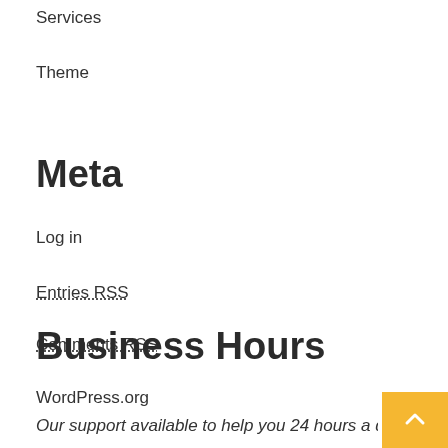Services
Theme
Meta
Log in
Entries RSS
Comments RSS
WordPress.org
Business Hours
Our support available to help you 24 hours a day, seven days a